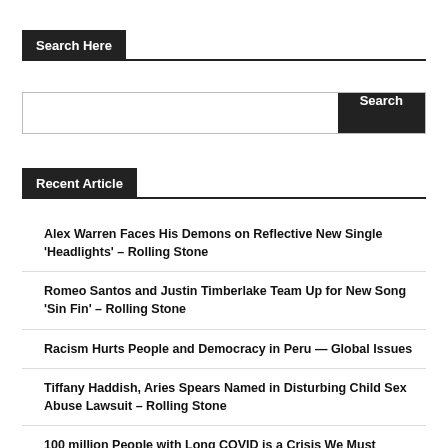Search Here
Search
Recent Article
Alex Warren Faces His Demons on Reflective New Single 'Headlights' – Rolling Stone
Romeo Santos and Justin Timberlake Team Up for New Song 'Sin Fin' – Rolling Stone
Racism Hurts People and Democracy in Peru — Global Issues
Tiffany Haddish, Aries Spears Named in Disturbing Child Sex Abuse Lawsuit – Rolling Stone
100 million People with Long COVID is a Crisis We Must Address